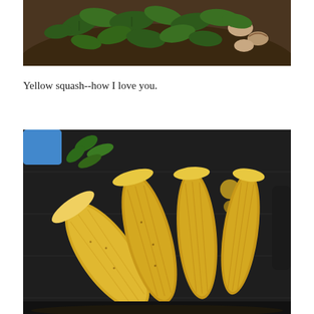[Figure (photo): Close-up photo of a dark cast iron pan containing fresh green spinach leaves and mushroom pieces being cooked]
Yellow squash--how I love you.
[Figure (photo): Photo of four halved yellow squash pieces laid on a dark grill pan, with herbs and small round yellow vegetables in the background]